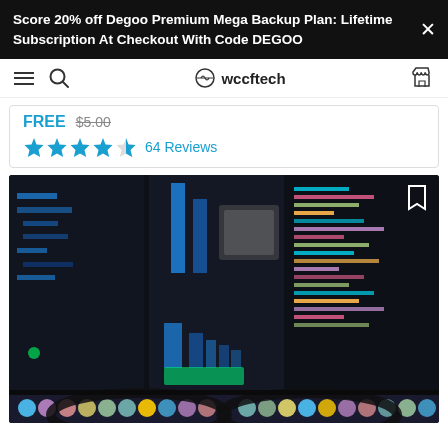Score 20% off Degoo Premium Mega Backup Plan: Lifetime Subscription At Checkout With Code DEGOO
wccftech navigation bar
FREE $5.00
★★★★½ 64 Reviews
[Figure (photo): A photo of a computer monitor showing colorful code editor with syntax highlighting in blue, cyan, green and other colors. A pair of glasses is visible in the foreground reflecting the screen. The image appears to be a stock photo associated with a programming/tech product listing on wccftech.]